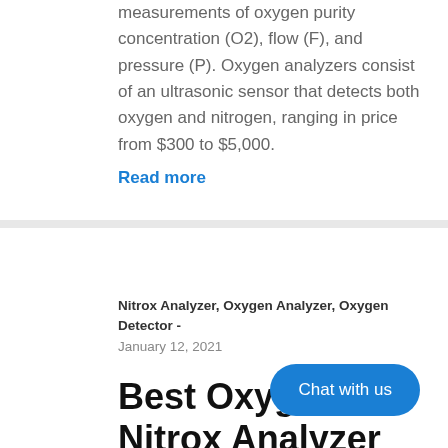measurements of oxygen purity concentration (O2), flow (F), and pressure (P). Oxygen analyzers consist of an ultrasonic sensor that detects both oxygen and nitrogen, ranging in price from $300 to $5,000.
Read more
Nitrox Analyzer, Oxygen Analyzer, Oxygen Detector - January 12, 2021
Best Oxygen Nitrox Analyzer (for Scuba Diving)